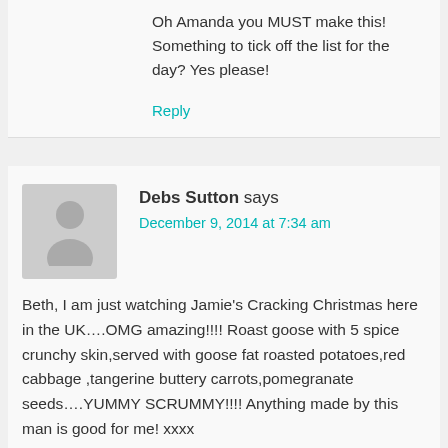Oh Amanda you MUST make this! Something to tick off the list for the day? Yes please!
Reply
Debs Sutton says
December 9, 2014 at 7:34 am
Beth, I am just watching Jamie's Cracking Christmas here in the UK….OMG amazing!!!! Roast goose with 5 spice crunchy skin,served with goose fat roasted potatoes,red cabbage ,tangerine buttery carrots,pomegranate seeds….YUMMY SCRUMMY!!!! Anything made by this man is good for me! xxxx
Reply